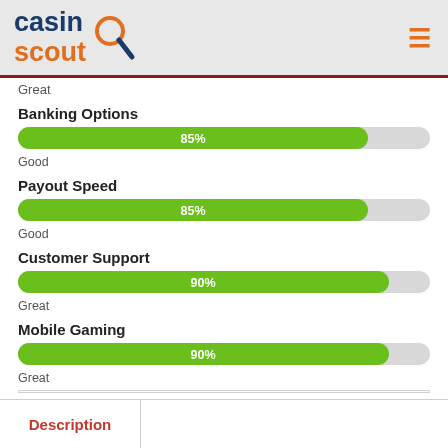casin scout
Great
Banking Options
[Figure (bar-chart): Banking Options]
Good
Payout Speed
[Figure (bar-chart): Payout Speed]
Good
Customer Support
[Figure (bar-chart): Customer Support]
Great
Mobile Gaming
[Figure (bar-chart): Mobile Gaming]
Great
Description